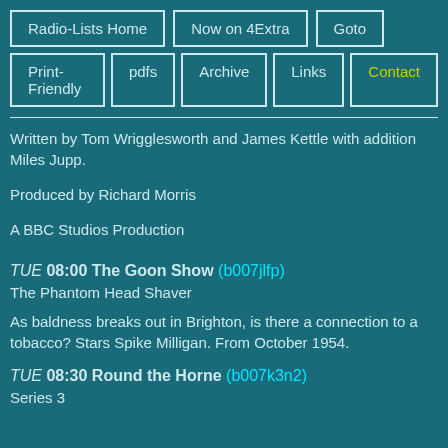Radio-Lists Home | Now on 4Extra | Goto | Print-Friendly | pdfs | Archive | Links | Contact
Written by Tom Wrigglesworth and James Kettle with addition Miles Jupp.
Produced by Richard Morris
A BBC Studios Production
TUE 08:00 The Goon Show (b007jlfp)
The Phantom Head Shaver
As baldness breaks out in Brighton, is there a connection to a tobacco? Stars Spike Milligan. From October 1954.
TUE 08:30 Round the Horne (b007k3n2)
Series 3